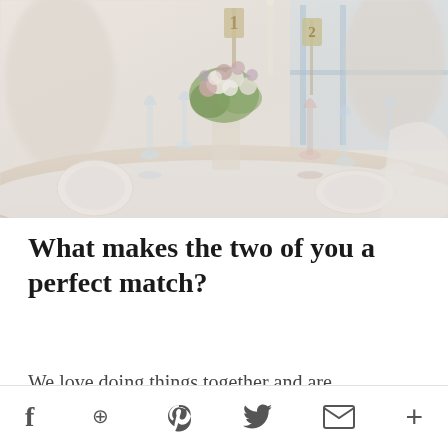[Figure (photo): Wedding reception table setting with floral centerpiece of white, pink, and green flowers, glassware, white linens, and table number signs (1 and 2) in a bright white venue.]
What makes the two of you a perfect match?
We love doing things together and are
f  [Pinterest]  [Twitter]  [Email]  +